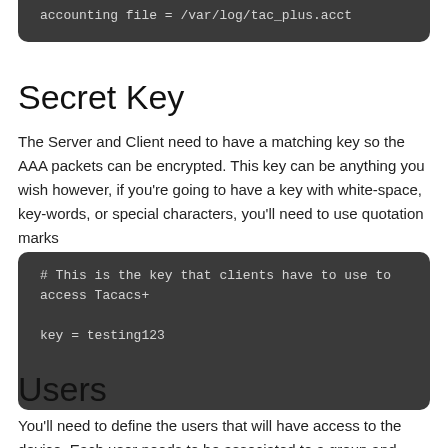[Figure (screenshot): Dark code block showing: accounting file = /var/log/tac_plus.acct]
Secret Key
The Server and Client need to have a matching key so the AAA packets can be encrypted. This key can be anything you wish however, if you're going to have a key with white-space, key-words, or special characters, you'll need to use quotation marks
[Figure (screenshot): Dark code block showing: # This is the key that clients have to use to access Tacacs+

key = testing123]
Users
You'll need to define the users that will have access to the device. Each user needs to be associated to a group and have their